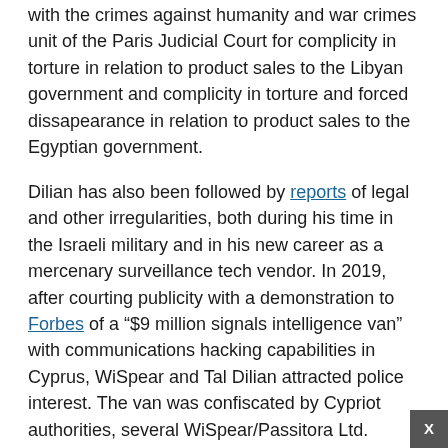with the crimes against humanity and war crimes unit of the Paris Judicial Court for complicity in torture in relation to product sales to the Libyan government and complicity in torture and forced dissapearance in relation to product sales to the Egyptian government.
Dilian has also been followed by reports of legal and other irregularities, both during his time in the Israeli military and in his new career as a mercenary surveillance tech vendor. In 2019, after courting publicity with a demonstration to Forbes of a “$9 million signals intelligence van” with communications hacking capabilities in Cyprus, WiSpear and Tal Dilian attracted police interest. The van was confiscated by Cypriot authorities, several WiSpear/Passitora Ltd. employees were arrested and briefly detained, and Dilian was wanted for questioning.
According to a 2020 Reuters article Dilian—who characterized the Cypriot investigation as a “witch hunt” against him—fled